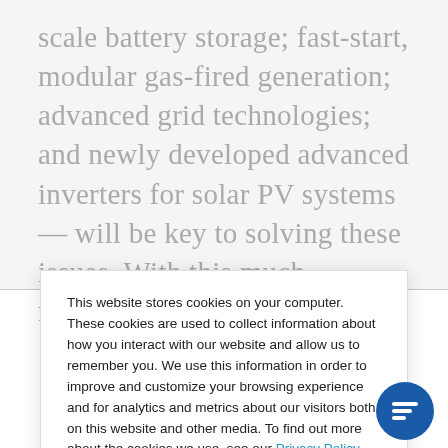scale battery storage; fast-start, modular gas-fired generation; advanced grid technologies; and newly developed advanced inverters for solar PV systems — will be key to solving these issues. With this much momentum, it is
This website stores cookies on your computer. These cookies are used to collect information about how you interact with our website and allow us to remember you. We use this information in order to improve and customize your browsing experience and for analytics and metrics about our visitors both on this website and other media. To find out more about the cookies we use, see our Privacy Policy.
If you decline, your information won't be tracked when you visit this website. A single cookie will be used in your browser to remember your preference not to be tracked.